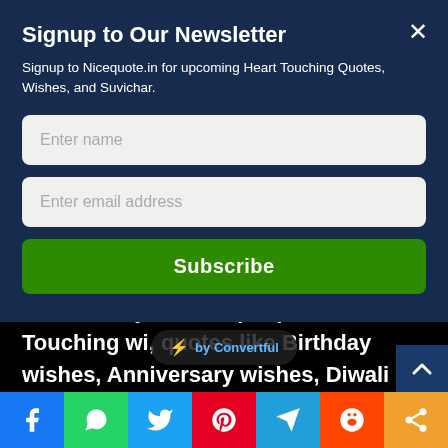Signup to Our Newsletter
Signup to Nicequote.in for upcoming Heart Touching Quotes, Wishes, and Suvichar.
Enter name
Enter email address
Subscribe
Suvichar by famous people and Heart Touching wishes, quotes like Birthday wishes, Anniversary wishes, Diwali wishes, etc in Hindi & English, and other useful content. Know More
[Figure (infographic): Convertful badge overlay with lightning bolt icon]
[Figure (infographic): Social share bar with Facebook, WhatsApp, Twitter, Pinterest, Telegram, Reddit, and Share icons]